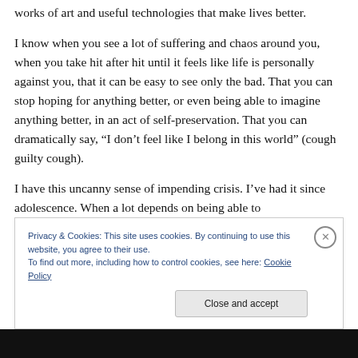works of art and useful technologies that make lives better.
I know when you see a lot of suffering and chaos around you, when you take hit after hit until it feels like life is personally against you, that it can be easy to see only the bad. That you can stop hoping for anything better, or even being able to imagine anything better, in an act of self-preservation. That you can dramatically say, "I don’t feel like I belong in this world" (cough guilty cough).
I have this uncanny sense of impending crisis. I’ve had it since adolescence. When a lot depends on being able to
Privacy & Cookies: This site uses cookies. By continuing to use this website, you agree to their use.
To find out more, including how to control cookies, see here: Cookie Policy
Close and accept